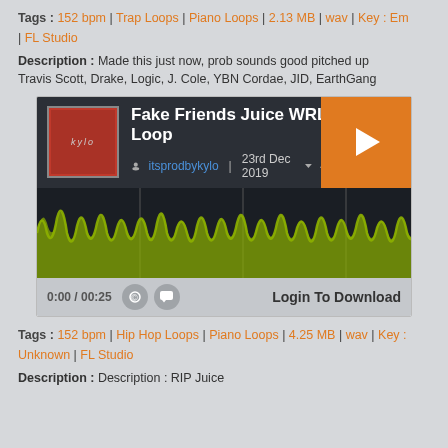Tags : 152 bpm | Trap Loops | Piano Loops | 2.13 MB | wav | Key : Em | FL Studio
Description : Made this just now, prob sounds good pitched up
Travis Scott, Drake, Logic, J. Cole, YBN Cordae, JID, EarthGang
[Figure (screenshot): Music player card for 'Fake Friends Juice WRLD Type Loop' by itsprodbykylo, posted 23rd Dec 2019, with 4261 downloads and 25 comments. Shows album art, waveform visualization in yellow-green, and controls including Login To Download button.]
Tags : 152 bpm | Hip Hop Loops | Piano Loops | 4.25 MB | wav | Key : Unknown | FL Studio
Description : Description : RIP Juice